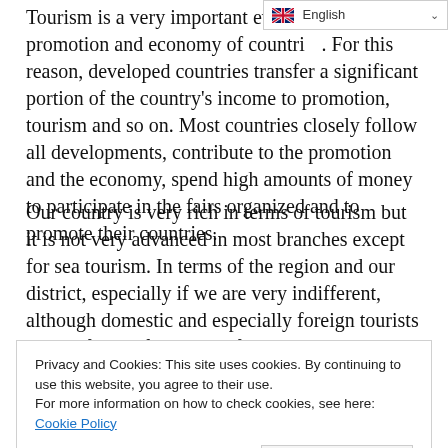Tourism is a very important event to the promotion and economy of countries. For this reason, developed countries transfer a significant portion of the country's income to promotion, tourism and so on. Most countries closely follow all developments, contribute to the promotion and the economy, spend high amounts of money to participate in the fairs organized and to promote their countries.
Our country is very rich in terms of tourism but it is not very advanced in most branches except for sea tourism. In terms of the region and our district, especially if we are very indifferent, although domestic and especially foreign tourists are the focus of attention, foreigners come thousands of kilometers to
Privacy and Cookies: This site uses cookies. By continuing to use this website, you agree to their use.
For more information on how to check cookies, see here: Cookie Policy
almost reached the point of closure. Business people who